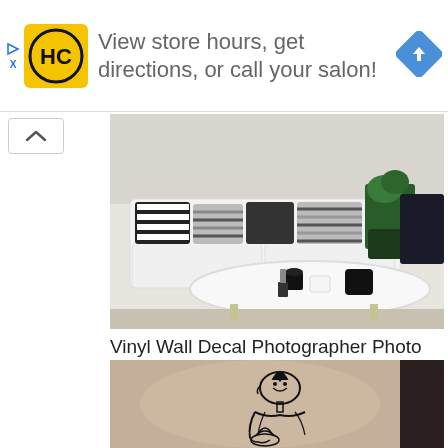[Figure (infographic): Advertisement banner with HC salon logo (yellow square with HC letters), text 'View store hours, get directions, or call your salon!', and a blue navigation diamond arrow icon. Small play and X icons on the left edge.]
[Figure (photo): Photo of a modern living room with a white sectional sofa with black and white striped pillows, a round white coffee table with cups and a candle holder, and a green plant in a dark pot.]
Vinyl Wall Decal Photographer Photo Studio Camera Stickers
[Figure (photo): Photo of a vinyl wall decal of a Buddha figure with a lotus flower on a beige/tan wall with a dark panel on the right side.]